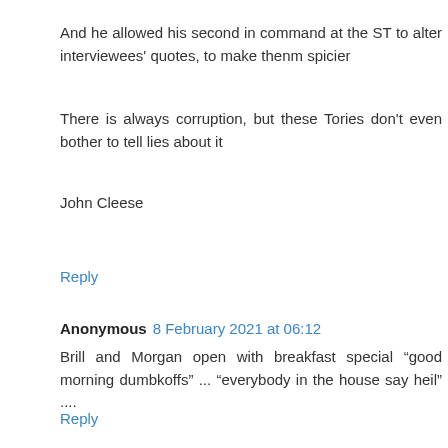And he allowed his second in command at the ST to alter interviewees' quotes, to make thenm spicier
There is always corruption, but these Tories don't even bother to tell lies about it
John Cleese
Reply
Anonymous 8 February 2021 at 06:12
Brill and Morgan open with breakfast special “good morning dumbkoffs” ... “everybody in the house say heil” ....
Reply